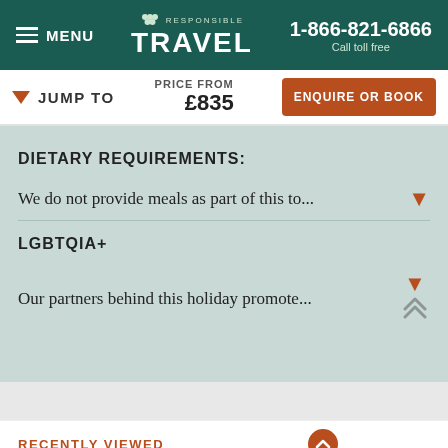MENU | RESPONSIBLE TRAVEL | 1-866-821-6866 Call toll free
▼ JUMP TO
PRICE FROM £835
ENQUIRE OR BOOK
DIETARY REQUIREMENTS:
We do not provide meals as part of this to...
LGBTQIA+
Our partners behind this holiday promote...
RECENTLY VIEWED